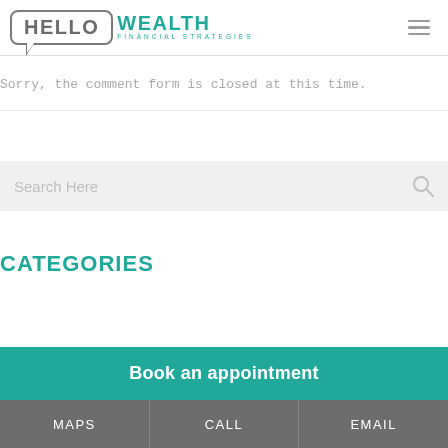[Figure (logo): Hello Wealth Financial Strategies logo with speech bubble]
Sorry, the comment form is closed at this time.
Search Here
CATEGORIES
Book an appointment
MAPS   CALL   EMAIL